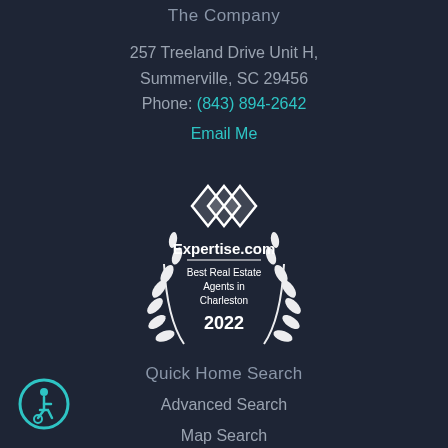The Company
257 Treeland Drive Unit H, Summerville, SC 29456
Phone: (843) 894-2642
Email Me
[Figure (logo): Expertise.com badge: Best Real Estate Agents in Charleston 2022, with decorative laurel wreath and diamond logo mark]
Quick Home Search
Advanced Search
Map Search
Property Tracker
[Figure (illustration): Wheelchair accessibility icon — circular teal border with white wheelchair user symbol]